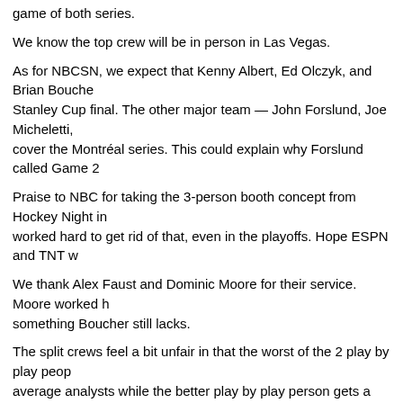game of both series.
We know the top crew will be in person in Las Vegas.
As for NBCSN, we expect that Kenny Albert, Ed Olczyk, and Brian Bouche... Stanley Cup final. The other major team — John Forslund, Joe Micheletti, ... cover the Montréal series. This could explain why Forslund called Game 2...
Praise to NBC for taking the 3-person booth concept from Hockey Night in... worked hard to get rid of that, even in the playoffs. Hope ESPN and TNT w...
We thank Alex Faust and Dominic Moore for their service. Moore worked h... something Boucher still lacks.
The split crews feel a bit unfair in that the worst of the 2 play by play peop... average analysts while the better play by play person gets a good analyst ... (Boucher). Albert, Micheletti, and either Olczyk or McGuire would be rathe...
The crew covering the Habs series gets a slight edge since Forslund is sli... Boucher is on analysis. That said, we are willing to suffer through Bouche... the Stanley Cup.
The over-the-air part of NBC is only carrying a single game in this round a... not involved. The only chance the Canadiens will be on NBC is to get pas... NBCSN for Game 3 and a potential Game 6.
We don't know if any of the NBC people will travel to Canada or set foot in...